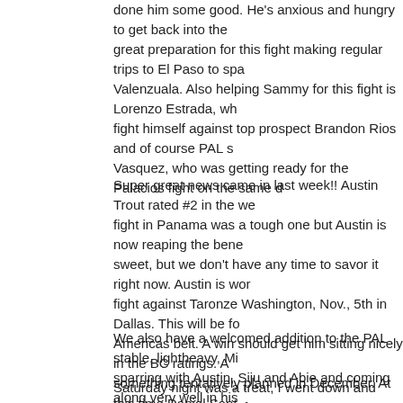done him some good. He's anxious and hungry to get back into the great preparation for this fight making regular trips to El Paso to spa Valenzuala. Also helping Sammy for this fight is Lorenzo Estrada, wh fight himself against top prospect Brandon Rios and of course PAL s Vasquez, who was getting ready for the Palacios fight on the same d
Super great news came in last week!! Austin Trout rated #2 in the w fight in Panama was a tough one but Austin is now reaping the bene sweet, but we don't have any time to savor it right now. Austin is wor fight against Taronze Washington, Nov., 5th in Dallas. This will be fo Americas belt. A win should get him sitting nicely in the BC ratings. A something tentatively planned in December. At this time Daniel Sant taking on Yori Foreman for the title next month. So we'll have to see We've been blessed by opportunity this year and Austin has stepped time, taking on some tough foe's in their backyards. We expect huge year!
We also have a welcomed addition to the PAL stable, lightheavy, Mi sparring with Austin, Siju and Abie and coming along very well in his prepared for his December fight in 'burque.
Saturday night was a treat, I went down and helped corner some of the Rumble in Rio. It was a good time and great competition against fi...